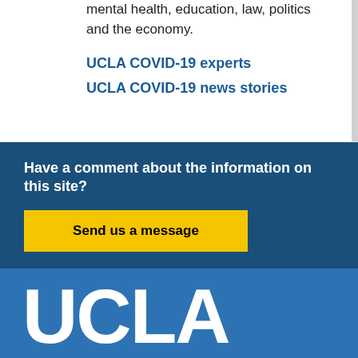mental health, education, law, politics and the economy.
UCLA COVID-19 experts
UCLA COVID-19 news stories
Have a comment about the information on this site?
Send us a message
[Figure (logo): UCLA logo in white text on blue background]